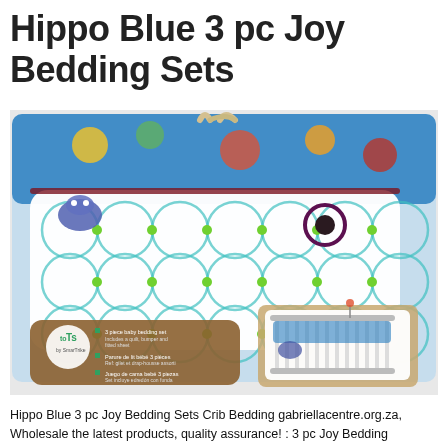Hippo Blue 3 pc Joy Bedding Sets
[Figure (photo): Packaged Hippo Blue 3 pc Joy Bedding Set in plastic packaging, showing a white and blue crib bumper with circular teal pattern and green dots, hippo plush toy, a crib set image inset on bottom right, and the 'toTs by SmarTrike' brand logo on the lower left of the package.]
Hippo Blue 3 pc Joy Bedding Sets Crib Bedding gabriellacentre.org.za, Wholesale the latest products, quality assurance! : 3 pc Joy Bedding